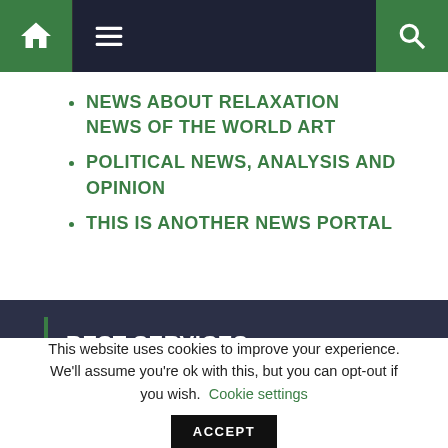Navigation bar with home, menu, and search icons
NEWS ABOUT RELAXATION NEWS OF THE WORLD ART
POLITICAL NEWS, ANALYSIS AND OPINION
THIS IS ANOTHER NEWS PORTAL
BEST SERVICES
This website uses cookies to improve your experience. We'll assume you're ok with this, but you can opt-out if you wish. Cookie settings ACCEPT